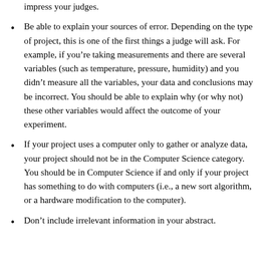impress your judges.
Be able to explain your sources of error. Depending on the type of project, this is one of the first things a judge will ask. For example, if you’re taking measurements and there are several variables (such as temperature, pressure, humidity) and you didn’t measure all the variables, your data and conclusions may be incorrect. You should be able to explain why (or why not) these other variables would affect the outcome of your experiment.
If your project uses a computer only to gather or analyze data, your project should not be in the Computer Science category. You should be in Computer Science if and only if your project has something to do with computers (i.e., a new sort algorithm, or a hardware modification to the computer).
Don’t include irrelevant information in your abstract.